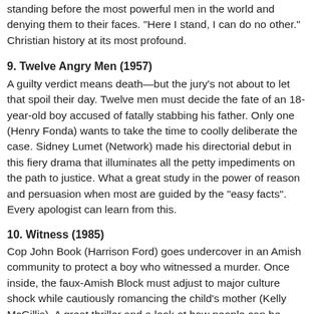standing before the most powerful men in the world and denying them to their faces. "Here I stand, I can do no other." Christian history at its most profound.
9. Twelve Angry Men (1957)
A guilty verdict means death—but the jury's not about to let that spoil their day. Twelve men must decide the fate of an 18-year-old boy accused of fatally stabbing his father. Only one (Henry Fonda) wants to take the time to coolly deliberate the case. Sidney Lumet (Network) made his directorial debut in this fiery drama that illuminates all the petty impediments on the path to justice. What a great study in the power of reason and persuasion when most are guided by the "easy facts". Every apologist can learn from this.
10. Witness (1985)
Cop John Book (Harrison Ford) goes undercover in an Amish community to protect a boy who witnessed a murder. Once inside, the faux-Amish Block must adjust to major culture shock while cautiously romancing the child's mother (Kelly McGillis). A great thriller and a look at how people can be devoted to their faith and one another. Blood and guts violence give this one an R rating, so be forewarned.
[Figure (other): Social sharing buttons: Facebook (blue), Twitter (light blue), Share/email (gray), Pinterest (red), More/plus (gray)]